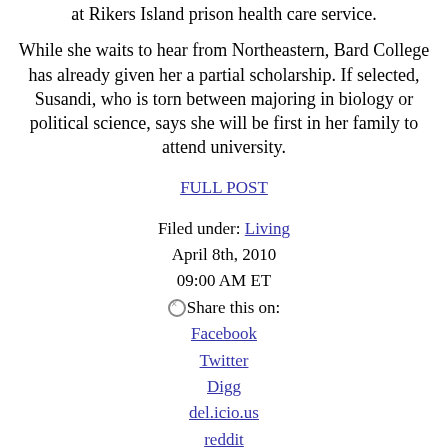at Rikers Island prison health care service.
While she waits to hear from Northeastern, Bard College has already given her a partial scholarship. If selected, Susandi, who is torn between majoring in biology or political science, says she will be first in her family to attend university.
FULL POST
Filed under: Living
April 8th, 2010
09:00 AM ET
Share this on:
Facebook
Twitter
Digg
del.icio.us
reddit
MySpace
StumbleUpon
Comments (4 comments)
Mining's treacherous legacy